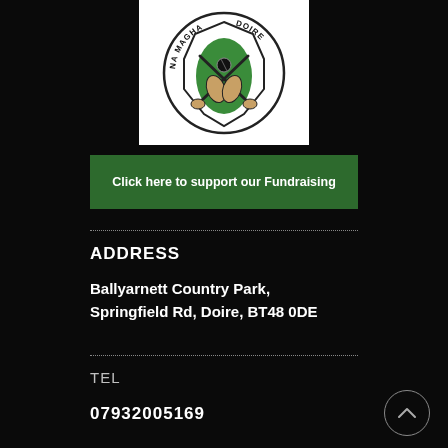[Figure (logo): GAA club crest: circular badge with crossed hurling sticks, a sliotar, and plant/leaves motif. Text 'NA MAGHA' on left arc and 'DOIRE' on right arc. Green and white colors on white background.]
Click here to support our Fundraising
ADDRESS
Ballyarnett Country Park, Springfield Rd, Doire, BT48 0DE
TEL
07932005169